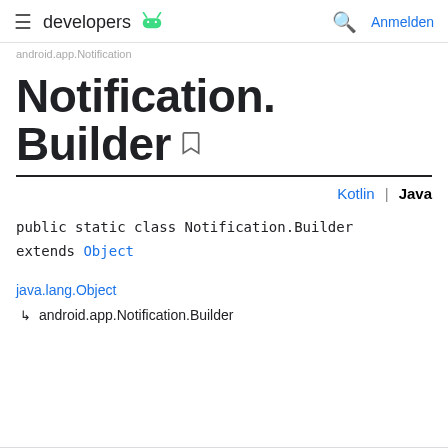developers (Android logo) | Anmelden
android.app.Notification
Notification.Builder
Kotlin | Java
public static class Notification.Builder extends Object
java.lang.Object
  ↳  android.app.Notification.Builder